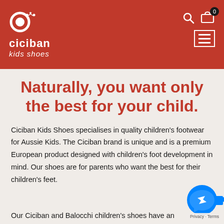[Figure (logo): Ciciban Kids Shoes logo — white snail/letter C icon with stars above stylized text 'ciciban' and 'kids shoes' on red background]
Naturally, you want only the best for your child.
Ciciban Kids Shoes specialises in quality children's footwear for Aussie Kids. The Ciciban brand is unique and is a premium European product designed with children's foot development in mind. Our shoes are for parents who want the best for their children's feet.
Our Ciciban and Balocchi children's shoes have an